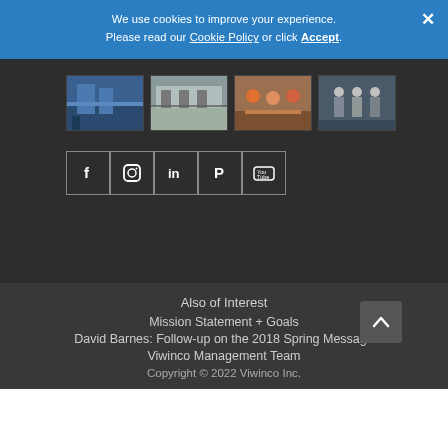We use cookies to improve your experience. Please read our Cookie Policy or click Accept.
[Figure (photo): Four thumbnail photos in a row: blue industrial building exterior, grey modern architecture exterior, people seated around a table in a casual meeting, people standing in a corridor/hallway]
[Figure (infographic): Row of five social media icon buttons: Facebook (f), Instagram (camera), LinkedIn (in), Pinterest (P), YouTube (play)]
Also of Interest
Mission Statement + Goals
David Barnes: Follow-up on the 2018 Spring Message
Viwinco Management Team
Copyright © 2022 Viwinco Inc.